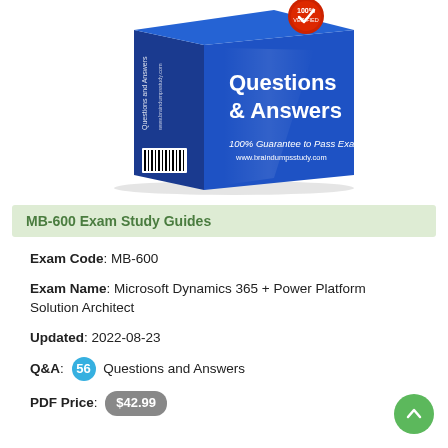[Figure (illustration): Blue box product image showing 'Questions & Answers' study guide with '100% Guarantee to Pass Exam' and 'www.braindumpsstudy.com' branding, with a red verified badge on top]
MB-600 Exam Study Guides
Exam Code: MB-600
Exam Name: Microsoft Dynamics 365 + Power Platform Solution Architect
Updated: 2022-08-23
Q&A: 56 Questions and Answers
PDF Price: $42.99